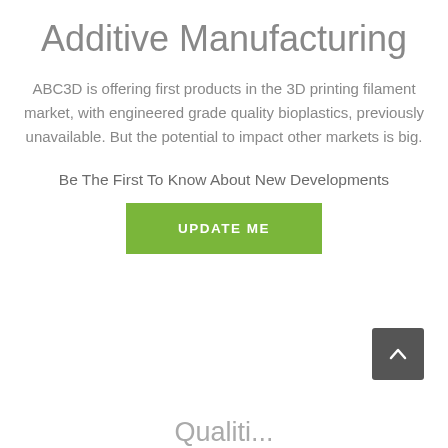Additive Manufacturing
ABC3D is offering first products in the 3D printing filament market, with engineered grade quality bioplastics, previously unavailable. But the potential to impact other markets is big.
Be The First To Know About New Developments
[Figure (other): Green button with text UPDATE ME]
[Figure (other): Dark grey back-to-top arrow button]
Qualiti...